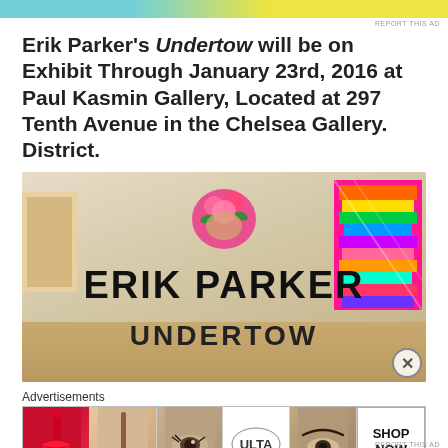[Figure (other): Colorful advertisement banner strip at top of page with teal and yellow gradient colors]
Erik Parker's Undertow will be on Exhibit Through January 23rd, 2016 at Paul Kasmin Gallery, Located at 297 Tenth Avenue in the Chelsea Gallery. District.
[Figure (photo): Interior gallery photo showing 'ERIK PARKER UNDERTOW' exhibition signage in large black letters, with colorful artwork visible on the right side and a floral/face artwork circle above the text]
Advertisements
[Figure (photo): ULTA beauty advertisement strip showing makeup imagery including lips, brush, eye, ULTA logo, brows, with 'SHOP NOW' button]